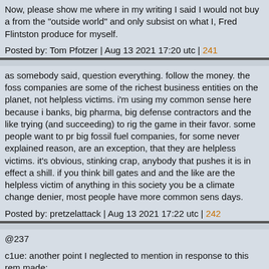Now, please show me where in my writing I said I would not buy a from the "outside world" and only subsist on what I, Fred Flintston produce for myself.
Posted by: Tom Pfotzer | Aug 13 2021 17:20 utc | 241
as somebody said, question everything. follow the money. the fos companies are some of the richest business entities on the planet not helpless victims. i'm using my common sense here because i banks, big pharma, big defense contractors and the like trying (an succeeding) to rig the game in their favor. some people want to pr big fossil fuel companies, for some never explained reason, are a exception, that they are helpless victims. it's obvious, stinking crap anybody that pushes it is in effect a shill. if you think bill gates ano and the like are the helpless victim of anything in this society you be a climate change denier, most people have more common sen days.
Posted by: pretzelattack | Aug 13 2021 17:22 utc | 242
@237
c1ue: another point I neglected to mention in response to this rem made:
Half or more of the emissions we create are from the exact same society. Even if you magically avoided all carbon emissions from